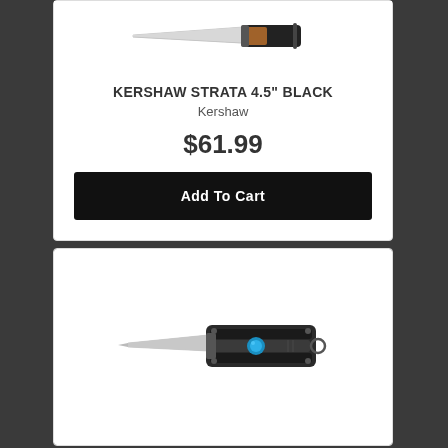[Figure (photo): Kershaw Strata 4.5 inch Black folding knife with black handle and wood accent, blade extended]
KERSHAW STRATA 4.5" BLACK
Kershaw
$61.99
Add To Cart
[Figure (photo): Small folding knife with black handle, blue accent, and silver blade extended to the left]